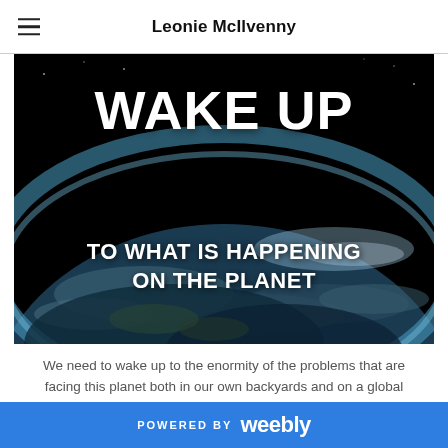Leonie McIlvenny
[Figure (photo): Photograph of Earth from space showing clouds and atmosphere with bold white text overlay reading 'WAKE UP / TO WHAT IS HAPPENING ON THE PLANET']
We need to wake up to the enormity of the problems that are facing this planet both in our own backyards and on a global scale.
POWERED BY weebly